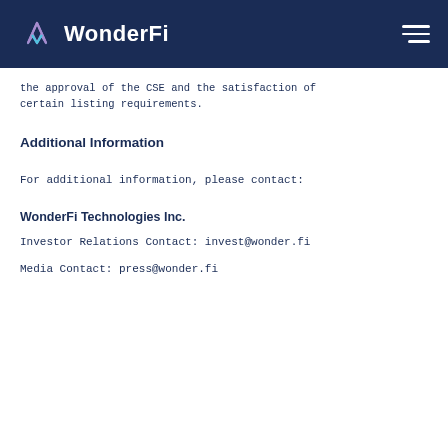WonderFi
the approval of the CSE and the satisfaction of certain listing requirements.
Additional Information
For additional information, please contact:
WonderFi Technologies Inc.
Investor Relations Contact: invest@wonder.fi
Media Contact: press@wonder.fi